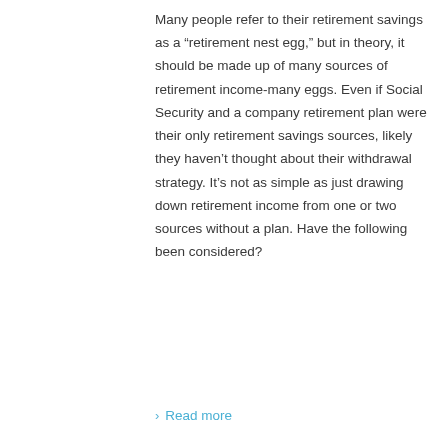Many people refer to their retirement savings as a “retirement nest egg,” but in theory, it should be made up of many sources of retirement income-many eggs. Even if Social Security and a company retirement plan were their only retirement savings sources, likely they haven’t thought about their withdrawal strategy. It’s not as simple as just drawing down retirement income from one or two sources without a plan. Have the following been considered?
› Read more